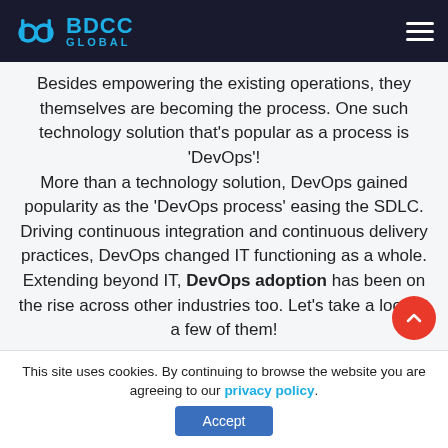BDCC GLOBAL
Besides empowering the existing operations, they themselves are becoming the process. One such technology solution that's popular as a process is 'DevOps'! More than a technology solution, DevOps gained popularity as the 'DevOps process' easing the SDLC. Driving continuous integration and continuous delivery practices, DevOps changed IT functioning as a whole. Extending beyond IT, DevOps adoption has been on the rise across other industries too. Let's take a look at a few of them!
Ranking
This site uses cookies. By continuing to browse the website you are agreeing to our privacy policy.